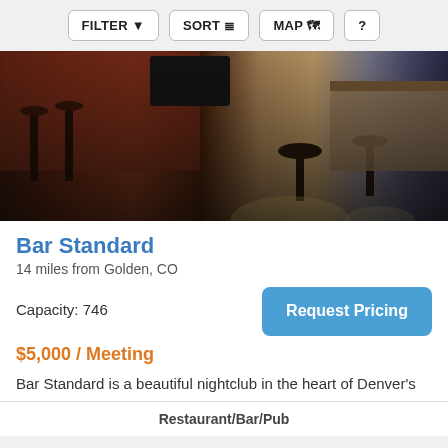FILTER  SORT  MAP  ?
[Figure (photo): Interior of Bar Standard nightclub showing bar area with red brick walls, dark bar stools, round tables, stage area, and ambient lighting]
Bar Standard
14 miles from Golden, CO
Capacity: 746
$5,000 / Meeting
Bar Standard is a beautiful nightclub in the heart of Denver's downtown Broadway corridor which boasts a luxurious yet comfortable Art Deco vibe. Bar Standard has a distinct feel that
Restaurant/Bar/Pub